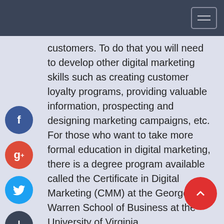customers. To do that you will need to develop other digital marketing skills such as creating customer loyalty programs, providing valuable information, prospecting and designing marketing campaigns, etc. For those who want to take more formal education in digital marketing, there is a degree program available called the Certificate in Digital Marketing (CMM) at the George Warren School of Business at the University of Virginia. There are many digital marketing courses that offer certificates for a short period of time. Some of these courses are available as online courses, others are taught on campus.